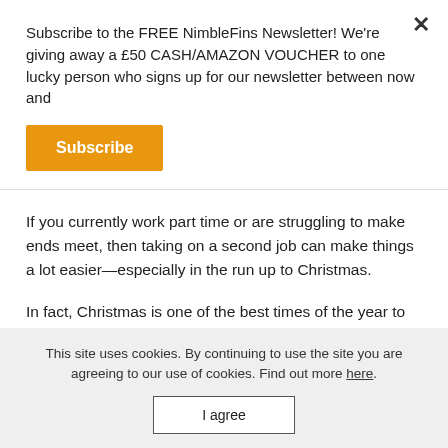Subscribe to the FREE NimbleFins Newsletter! We're giving away a £50 CASH/AMAZON VOUCHER to one lucky person who signs up for our newsletter between now and
Subscribe
If you currently work part time or are struggling to make ends meet, then taking on a second job can make things a lot easier—especially in the run up to Christmas.
In fact, Christmas is one of the best times of the year to get extra work, as most industries (e.g., retail and hospitality) take on more staff. Plus, it's not uncommon for Christmas
This site uses cookies. By continuing to use the site you are agreeing to our use of cookies. Find out more here.
I agree